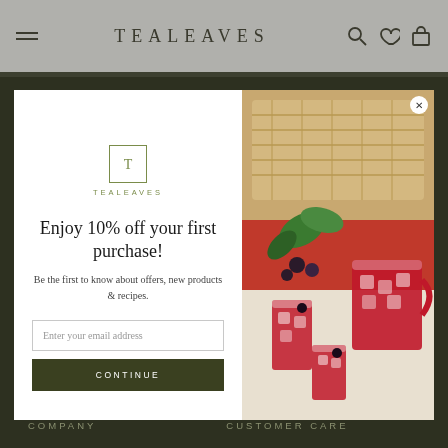TEALEAVES
[Figure (screenshot): TEALEAVES website with popup modal showing iced berry tea drinks, a picnic basket, and a newsletter signup form offering 10% off first purchase]
Enjoy 10% off your first purchase!
Be the first to know about offers, new products & recipes.
Enter your email address
CONTINUE
COMPANY   CUSTOMER CARE